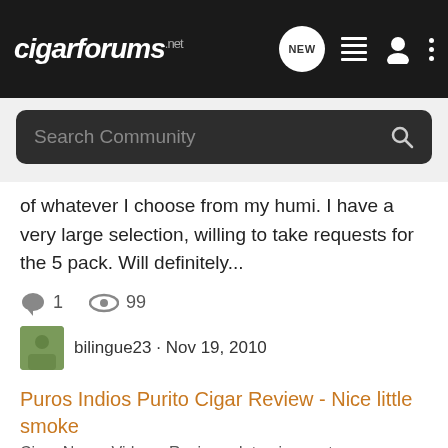cigarforums.net
of whatever I choose from my humi. I have a very large selection, willing to take requests for the 5 pack. Will definitely...
1    99
bilingue23 · Nov 19, 2010
5er   indios   puros   puros indios   rolando reyes   wtt
Puros Indios Purito Cigar Review - Nice little smoke
Cigar News, Videos, Reviews, Interviews, etc
I've been looking for a small cigar in this size that's cheaper than say a Montechristo or Romeos, and I think I have found it. The Purito is a Sum... Read the full review here: Puros Indios Purito Cigar Review - Nice little smoke